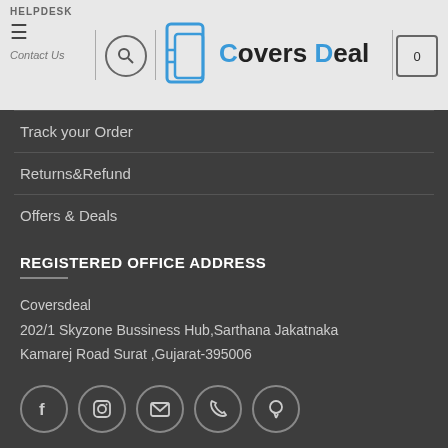HELPDESK | Covers Deal | Contact Us
Track your Order
Returns&Refund
Offers &  Deals
REGISTERED OFFICE ADDRESS
Coversdeal
202/1 Skyzone  Bussiness  Hub,Sarthana Jakatnaka
Kamarej  Road Surat ,Gujarat-395006
[Figure (infographic): Social media icons row: Facebook, Instagram, Email, Phone, Pinterest — each in a circle outline]